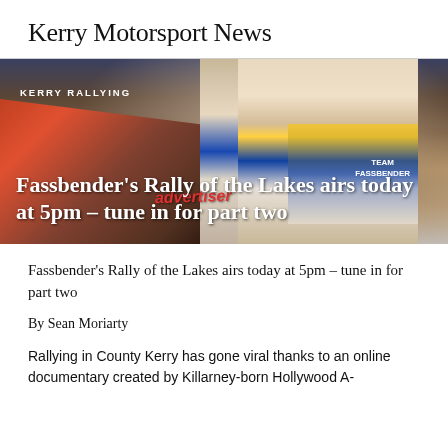Kerry Motorsport News
[Figure (photo): Two racing drivers in racing suits inside a rally car, with crowd visible in background. Text overlay reads 'KERRY RALLYING' and headline 'Fassbender's Rally of the Lakes airs today at 5pm – tune in for part two']
Fassbender's Rally of the Lakes airs today at 5pm – tune in for part two
By Sean Moriarty
Rallying in County Kerry has gone viral thanks to an online documentary created by Killarney-born Hollywood A-